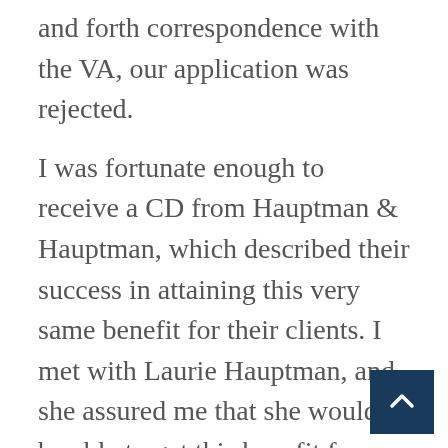and forth correspondence with the VA, our application was rejected.
I was fortunate enough to receive a CD from Hauptman & Hauptman, which described their success in attaining this very same benefit for their clients. I met with Laurie Hauptman, and she assured me that she would be able to get this benefit for my mother. She and her staff handled everything for us. It took almost a year, (due to the ‘efficiency’ of the government) but finally, our application was approved. My mother is receiving the monthly benefit to which she is entitled and a lump sum payment back to the application date. Without